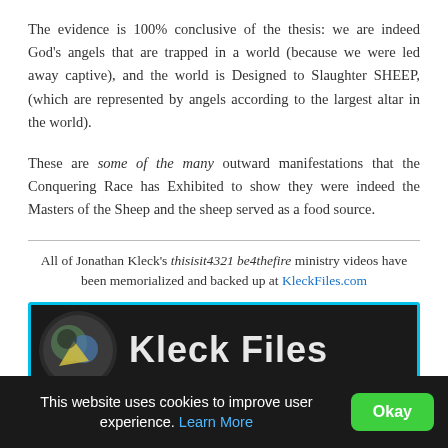The evidence is 100% conclusive of the thesis: we are indeed God's angels that are trapped in a world (because we were led away captive), and the world is Designed to Slaughter SHEEP, (which are represented by angels according to the largest altar in the world).
These are some of the many outward manifestations that the Conquering Race has Exhibited to show they were indeed the Masters of the Sheep and the sheep served as a food source.
All of Jonathan Kleck's thisisit4321 be4thefire ministry videos have been memorialized and backed up at KleckFiles.com
[Figure (logo): Kleck Files logo banner: dark background with circular logo image on left and 'Kleck Files' text in large white letters, framed with cyan border]
This website uses cookies to improve user experience. Learn More [Okay button]